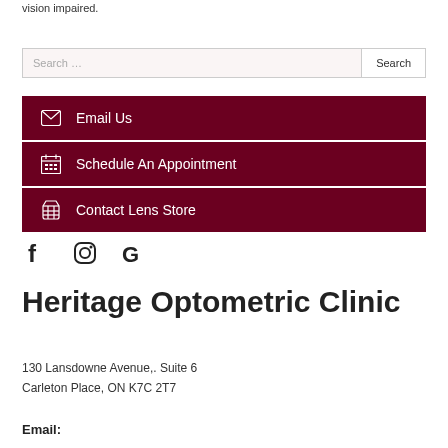vision impaired.
Search ...
Email Us
Schedule An Appointment
Contact Lens Store
[Figure (logo): Social media icons: Facebook, Instagram, Google]
Heritage Optometric Clinic
130 Lansdowne Avenue,. Suite 6
Carleton Place, ON K7C 2T7
Email: